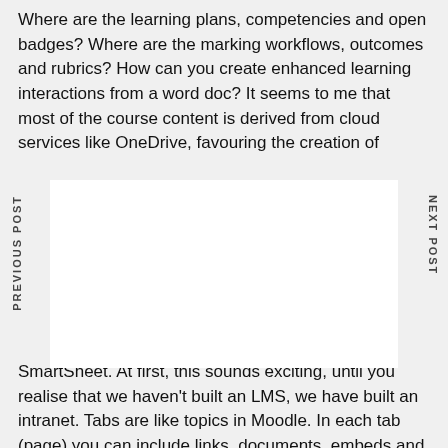Where are the learning plans, competencies and open badges? Where are the marking workflows, outcomes and rubrics? How can you create enhanced learning interactions from a word doc? It seems to me that most of the course content is derived from cloud services like OneDrive, favouring the creation of
documents to build up a course page as opposed to ns, databases, wikis and glossaries. But does the mod isation actually need any of this old Moodle stuff? Is i ant?
ams, courses don't exist in the traditional sense, instea s uses workspaces. It is possible to add “tabs” to a space and link to or embed content from a popular clo d application, such as Trello, Asana, YouTube, Power B SmartSheet. At first, this sounds exciting, until you realise that we haven't built an LMS, we have built an intranet. Tabs are like topics in Moodle. In each tab (page) you can include links, documents, embeds and tap into the other tools offered by the Microsoft suite.